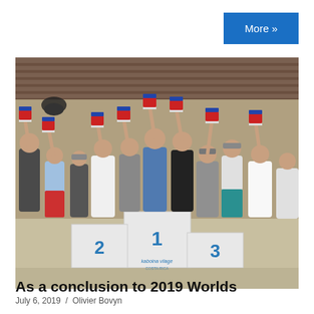More »
[Figure (photo): Group of sailors standing on a podium (places 1, 2, 3) holding up trophies/awards at what appears to be a sailing championship event. The podium shows a logo reading 'Kaboina Vilage Costa Rica'. The scene is indoors under a wooden roof structure.]
July 6, 2019  /  Olivier Bovyn
As a conclusion to 2019 Worlds